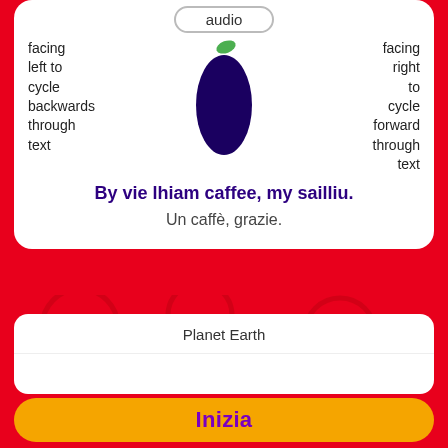audio
facing left to cycle backwards through text
[Figure (illustration): Dark navy/purple eggplant oval shape with small green leaf at top]
facing right to cycle forward through text
By vie lhiam caffee, my sailliu.
Un caffè, grazie.
[Figure (illustration): Planet Earth icon with alt text 'Planet Earth']
Inizia